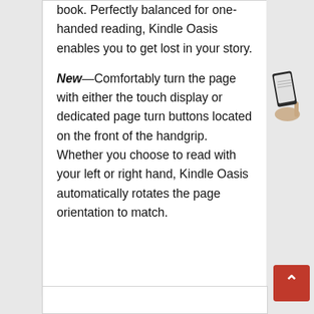book. Perfectly balanced for one-handed reading, Kindle Oasis enables you to get lost in your story.
New—Comfortably turn the page with either the touch display or dedicated page turn buttons located on the front of the handgrip. Whether you choose to read with your left or right hand, Kindle Oasis automatically rotates the page orientation to match.
[Figure (illustration): Hand holding a Kindle Oasis device, showing the device at an angle with a finger pointing]